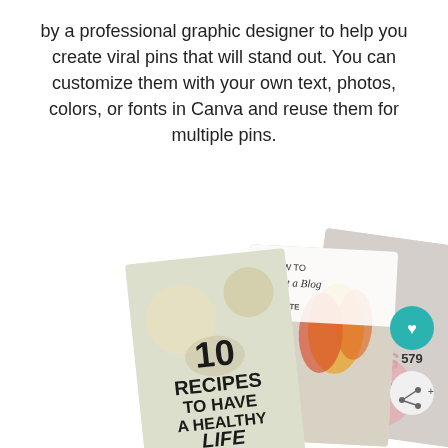by a professional graphic designer to help you create viral pins that will stand out. You can customize them with your own text, photos, colors, or fonts in Canva and reuse them for multiple pins.
[Figure (illustration): Three overlapping Pinterest pin template cards fanned out: left card shows '10 RECIPES TO HAVE A HEALTHY LIFE' with food background, middle card shows 'HOW TO Start a Blog THE COMPLETE GUIDE' with flower photo, right card partially visible showing '...AYS YOUR OUTFIT ...N' with fashion/robe photo. Pinterest heart icon (teal circle) with save count 579 and share icon on right side.]